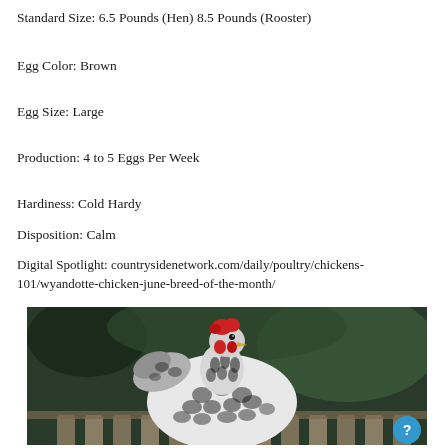Standard Size: 6.5 Pounds (Hen) 8.5 Pounds (Rooster)
Egg Color: Brown
Egg Size: Large
Production: 4 to 5 Eggs Per Week
Hardiness: Cold Hardy
Disposition: Calm
Digital Spotlight: countrysidenetwork.com/daily/poultry/chickens-101/wyandotte-chicken-june-breed-of-the-month/
[Figure (photo): A silver laced Wyandotte chicken with black and white patterned feathers and a red comb, photographed in front of a wooden fence with a dark green blurred background.]